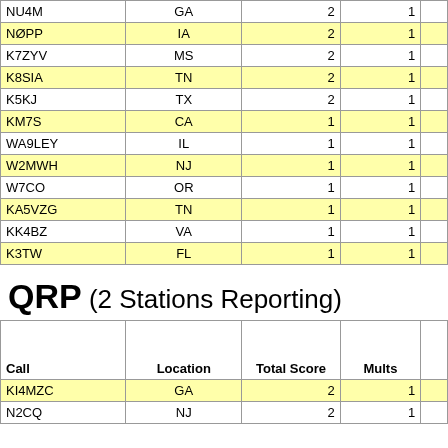| Call | Location | Total Score | Mults |  |
| --- | --- | --- | --- | --- |
| NU4M | GA | 2 | 1 |  |
| NØPP | IA | 2 | 1 |  |
| K7ZYV | MS | 2 | 1 |  |
| K8SIA | TN | 2 | 1 |  |
| K5KJ | TX | 2 | 1 |  |
| KM7S | CA | 1 | 1 |  |
| WA9LEY | IL | 1 | 1 |  |
| W2MWH | NJ | 1 | 1 |  |
| W7CO | OR | 1 | 1 |  |
| KA5VZG | TN | 1 | 1 |  |
| KK4BZ | VA | 1 | 1 |  |
| K3TW | FL | 1 | 1 |  |
QRP (2 Stations Reporting)
| Call | Location | Total Score | Mults |  |
| --- | --- | --- | --- | --- |
| KI4MZC | GA | 2 | 1 |  |
| N2CQ | NJ | 2 | 1 |  |